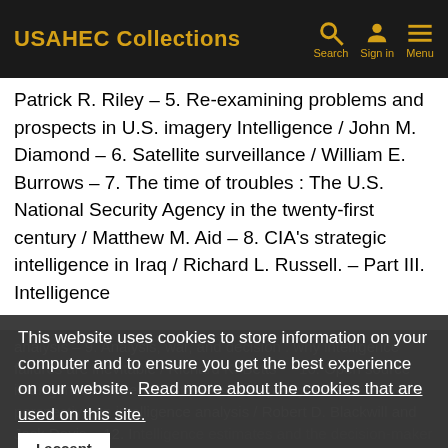USAHEC Collections | Search | Sign in | Menu
Patrick R. Riley – 5. Re-examining problems and prospects in U.S. imagery Intelligence / John M. Diamond – 6. Satellite surveillance / William E. Burrows – 7. The time of troubles : The U.S. National Security Agency in the twenty-first century / Matthew M. Aid – 8. CIA's strategic intelligence in Iraq / Richard L. Russell. – Part III. Intelligence analysis – 9. Analysis, war, and decision : why intelligence failures are inevitable / Richard K. Betts - - 10. Open source intelligence / Robert D. Steele – 11. A policymaker's perspective on intelligence analysis / Robert D. Blackwill and Jack Davis – 12. [I]ntelligence estimates and the decision-maker / Shlomo Gazit – 13. Early warning versus concept :
This website uses cookies to store information on your computer and to ensure you get the best experience on our website. Read more about the cookies that are used on this site.
I accept